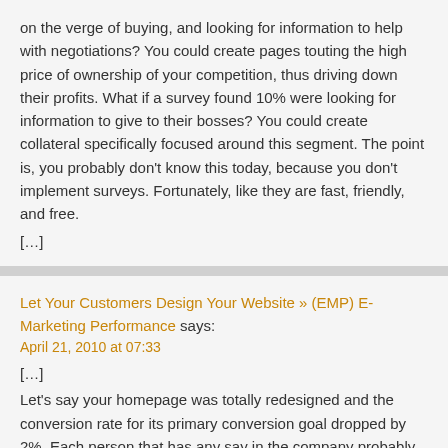on the verge of buying, and looking for information to help with negotiations? You could create pages touting the high price of ownership of your competition, thus driving down their profits. What if a survey found 10% were looking for information to give to their bosses? You could create collateral specifically focused around this segment. The point is, you probably don't know this today, because you don't implement surveys. Fortunately, like they are fast, friendly, and free.
[…]
Let Your Customers Design Your Website » (EMP) E-Marketing Performance says:
April 21, 2010 at 07:33
[…]
Let's say your homepage was totally redesigned and the conversion rate for its primary conversion goal dropped by 2%. Each person that has any say in the company probably